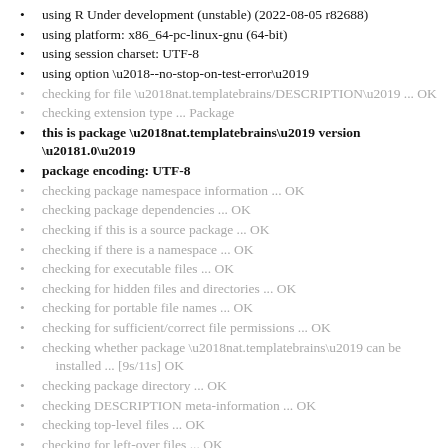using R Under development (unstable) (2022-08-05 r82688)
using platform: x86_64-pc-linux-gnu (64-bit)
using session charset: UTF-8
using option ‘--no-stop-on-test-error’
checking for file ‘nat.templatebrains/DESCRIPTION’ ... OK
checking extension type ... Package
this is package ‘nat.templatebrains’ version ‘1.0’
package encoding: UTF-8
checking package namespace information ... OK
checking package dependencies ... OK
checking if this is a source package ... OK
checking if there is a namespace ... OK
checking for executable files ... OK
checking for hidden files and directories ... OK
checking for portable file names ... OK
checking for sufficient/correct file permissions ... OK
checking whether package ‘nat.templatebrains’ can be installed ... [9s/11s] OK
checking package directory ... OK
checking DESCRIPTION meta-information ... OK
checking top-level files ... OK
checking for left-over files ... OK
checking index information ... OK
checking package subdirectories ... OK